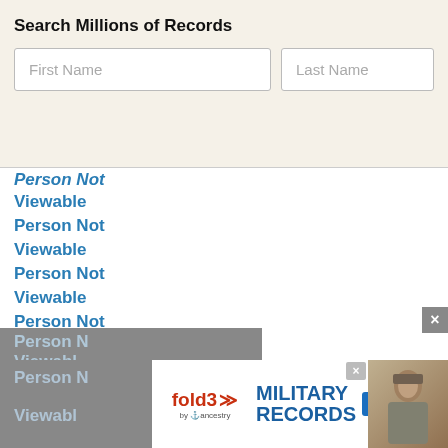Search Millions of Records
First Name
Last Name
Person Not
Viewable
Person Not
Viewable
Person Not
Viewable
Person Not
Viewable
Person Not
Viewable
Person Not
Viewable
Person Not
Viewable
Person Not
Viewable
[Figure (screenshot): fold3 Military Records advertisement banner with search now button and soldier photo]